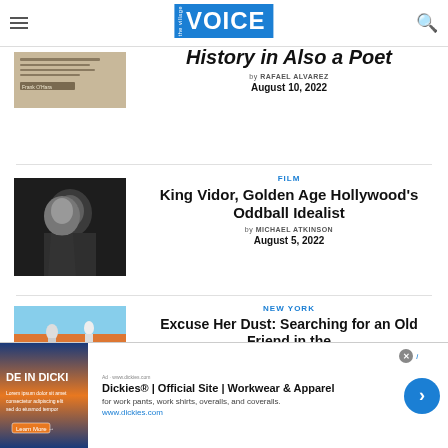The Village Voice
History in Also a Poet
by RAFAEL ALVAREZ
August 10, 2022
FILM
King Vidor, Golden Age Hollywood's Oddball Idealist
by MICHAEL ATKINSON
August 5, 2022
NEW YORK
Excuse Her Dust: Searching for an Old Friend in the
[Figure (advertisement): Dickies advertisement banner showing workwear brand]
Dickies® | Official Site | Workwear & Apparel
for work pants, work shirts, overalls, and coveralls.
www.dickies.com